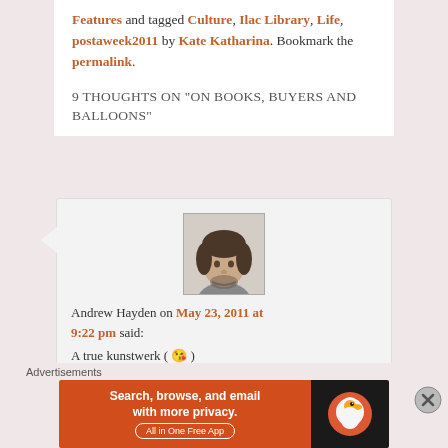Features and tagged Culture, Ilac Library, Life, postaweek2011 by Kate Katharina. Bookmark the permalink.
9 THOUGHTS ON "ON BOOKS, BUYERS AND BALLOONS"
[Figure (photo): Photo of Andrew Hayden, a young man with dark hair and short beard, wearing a grey t-shirt]
Andrew Hayden on May 23, 2011 at 9:22 pm said:
A true kunstwerk ( 😘 )
Advertisements
[Figure (other): DuckDuckGo advertisement banner: Search, browse, and email with more privacy. All in One Free App]